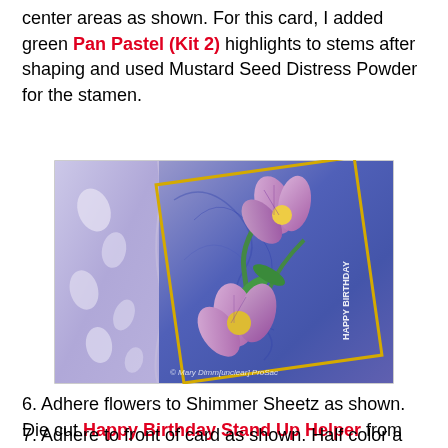center areas as shown. For this card, I added green Pan Pastel (Kit 2) highlights to stems after shaping and used Mustard Seed Distress Powder for the stamen.
[Figure (photo): A handmade birthday card featuring purple/blue iris flowers with green stems on a shimmery blue-purple embossed background with a yellow border, partially overlapping a lavender die-cut panel with leaf cutouts. Text reads 'HAPPY BIRTHDAY' on the card. Watermark: © Mary Dimm[unclear] ProSac]
6. Adhere flowers to Shimmer Sheetz as shown. Die cut Happy Birthday Stand Up Helper from purple cardstock. Adhere where shown. Glue velvet ribbon around Shimmer Sheetz/yellow cardstock, covering bottom of Happy Birthday Stand Up and wrapping slightly around back.
7. Adhere to front of card as shown. Half color a length of